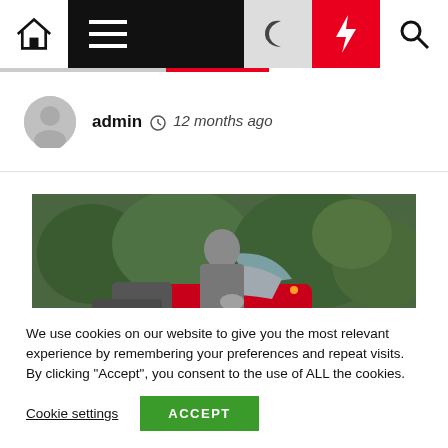Navigation bar with home, menu, moon, lightning, search icons
admin  12 months ago
[Figure (photo): A motorcyclist in full gear riding a red Honda adventure motorcycle on a trail with green trees in background]
We use cookies on our website to give you the most relevant experience by remembering your preferences and repeat visits. By clicking "Accept", you consent to the use of ALL the cookies.
Cookie settings  ACCEPT